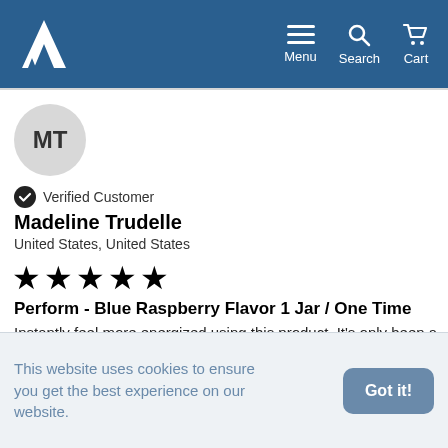MT  Menu  Search  Cart
[Figure (illustration): User avatar circle with initials MT]
Verified Customer
Madeline Trudelle
United States, United States
[Figure (other): 5-star rating (4 full stars shown, 1 partial)]
Perform - Blue Raspberry Flavor 1 Jar / One Time
Instantly feel more energized using this product. It's only been a
This website uses cookies to ensure you get the best experience on our website.
Got it!